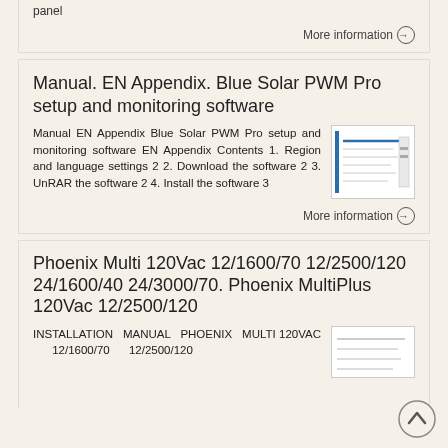panel
More information →
Manual. EN Appendix. Blue Solar PWM Pro setup and monitoring software
Manual EN Appendix Blue Solar PWM Pro setup and monitoring software EN Appendix Contents 1. Region and language settings 2 2. Download the software 2 3. UnRAR the software 2 4. Install the software 3
[Figure (screenshot): Thumbnail image of a document page with blue header lines]
More information →
Phoenix Multi 120Vac 12/1600/70 12/2500/120 24/1600/40 24/3000/70. Phoenix MultiPlus 120Vac 12/2500/120
INSTALLATION MANUAL Phoenix Multi 120Vac 12/1600/70 12/2500/120
[Figure (screenshot): Thumbnail of installation manual document page]